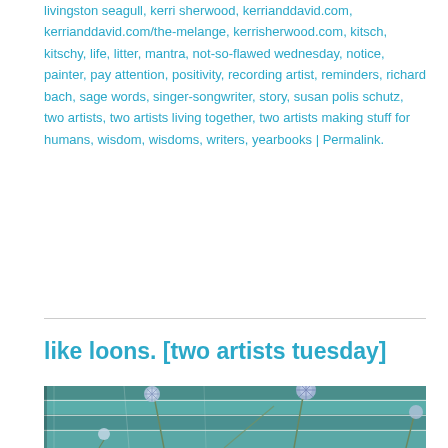livingston seagull, kerri sherwood, kerrianddavid.com, kerrianddavid.com/the-melange, kerrisherwood.com, kitsch, kitschy, life, litter, mantra, not-so-flawed wednesday, notice, painter, pay attention, positivity, recording artist, reminders, richard bach, sage words, singer-songwriter, story, susan polis schutz, two artists, two artists living together, two artists making stuff for humans, wisdom, wisdoms, writers, yearbooks | Permalink.
like loons. [two artists tuesday]
[Figure (photo): Close-up photograph of spiky globe thistle (Echinops) flowers with blue-purple spiky spherical heads against a teal/turquoise weathered wooden plank background]